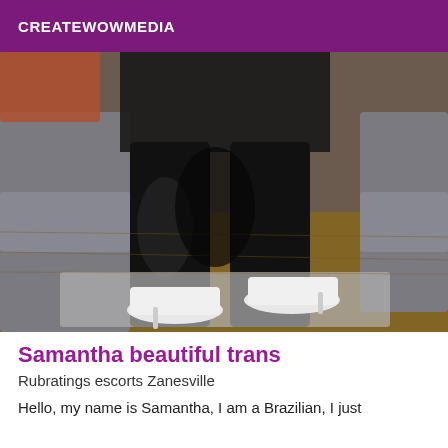CREATEWOWMEDIA
[Figure (photo): Photo showing a person's legs wearing black tights and white high-heel stiletto shoes, seated on a grey sofa with a wooden floor and grey rug visible in the background.]
Samantha beautiful trans
Rubratings escorts Zanesville
Hello, my name is Samantha, I am a Brazilian, I just